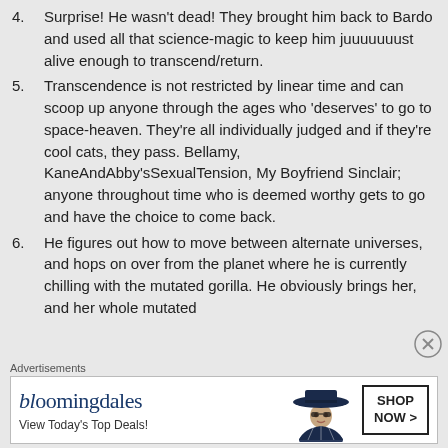4. Surprise! He wasn't dead! They brought him back to Bardo and used all that science-magic to keep him juuuuuuust alive enough to transcend/return.
5. Transcendence is not restricted by linear time and can scoop up anyone through the ages who 'deserves' to go to space-heaven. They're all individually judged and if they're cool cats, they pass. Bellamy, KaneAndAbby'sSexualTension, My Boyfriend Sinclair; anyone throughout time who is deemed worthy gets to go and have the choice to come back.
6. He figures out how to move between alternate universes, and hops on over from the planet where he is currently chilling with the mutated gorilla. He obviously brings her, and her whole mutated
[Figure (other): Bloomingdale's advertisement banner with logo, 'View Today's Top Deals!' text, woman in wide-brim hat, and 'SHOP NOW >' button]